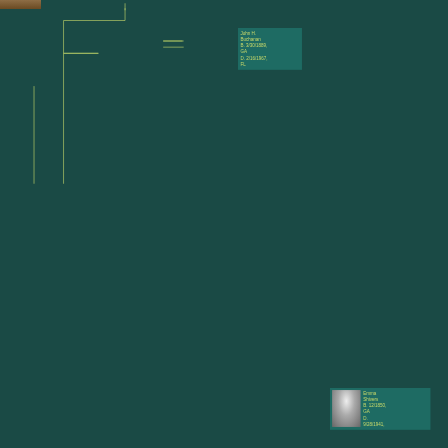[Figure (organizational-chart): Family tree / genealogy chart showing Buchanan family ancestors on a dark teal background. Nodes contain names, birth dates, death dates, and some have photos. Visible nodes include: Glenn Buchanan (bottom left, sepia photo), Joe (label), John H. Buchanan (B. 3/30/1889 GA, D. 2/16/1967 FL), Emma Shivers (B. 12/1850 GA, D. 9/28/1941 GA, with black-and-white photo), and multiple Unknown ancestors (B. D.) with placeholder image boxes. Partially visible Unknown nodes on the right edge.]